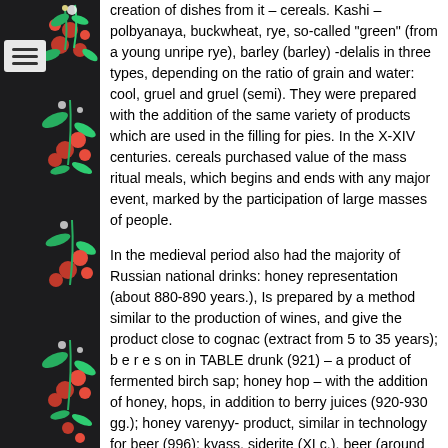[Figure (illustration): Left sidebar with dark background and colorful floral/folk art decoration pattern in red, green, and white tones (Russian folk art style). A hamburger menu icon appears at top left.]
creation of dishes from it – cereals. Kashi – polbyanaya, buckwheat, rye, so-called "green" (from a young unripe rye), barley (barley) -delalis in three types, depending on the ratio of grain and water: cool, gruel and gruel (semi). They were prepared with the addition of the same variety of products which are used in the filling for pies. In the X-XIV centuries. cereals purchased value of the mass ritual meals, which begins and ends with any major event, marked by the participation of large masses of people.
In the medieval period also had the majority of Russian national drinks: honey representation (about 880-890 years.), Is prepared by a method similar to the production of wines, and give the product close to cognac (extract from 5 to 35 years); b e r e s on in TABLE drunk (921) – a product of fermented birch sap; honey hop – with the addition of honey, hops, in addition to berry juices (920-930 gg.); honey varenyy- product, similar in technology for beer (996); kvass, siderite (XI c.), beer (around 1284). In the 40-70-ies of the XV century. (Not earlier than 1448 and no later than 1474 years.) Russian vodka appears in Russia. Sooner so expressed national technological differences...